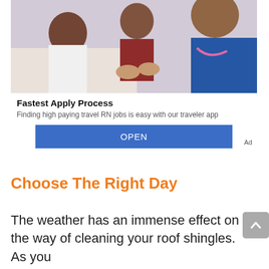[Figure (photo): Advertisement photo showing a young girl in a hospital bed smiling at a nurse in blue scrubs with a pink stethoscope, with an adult in a red shirt nearby.]
Fastest Apply Process
Finding high paying travel RN jobs is easy with our traveler app
OPEN
Ad
Choose The Right Day
The weather has an immense effect on the way of cleaning your roof shingles. As you